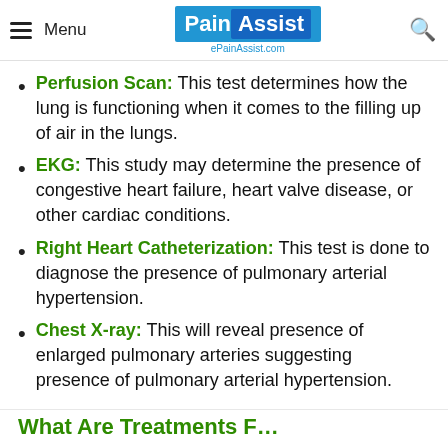Menu | PainAssist | ePainAssist.com
Perfusion Scan: This test determines how the lung is functioning when it comes to the filling up of air in the lungs.
EKG: This study may determine the presence of congestive heart failure, heart valve disease, or other cardiac conditions.
Right Heart Catheterization: This test is done to diagnose the presence of pulmonary arterial hypertension.
Chest X-ray: This will reveal presence of enlarged pulmonary arteries suggesting presence of pulmonary arterial hypertension.
What Are Treatments F…